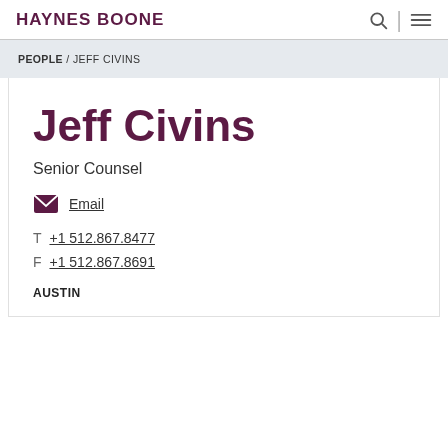HAYNES BOONE
PEOPLE / JEFF CIVINS
Jeff Civins
Senior Counsel
Email
T  +1 512.867.8477
F  +1 512.867.8691
AUSTIN